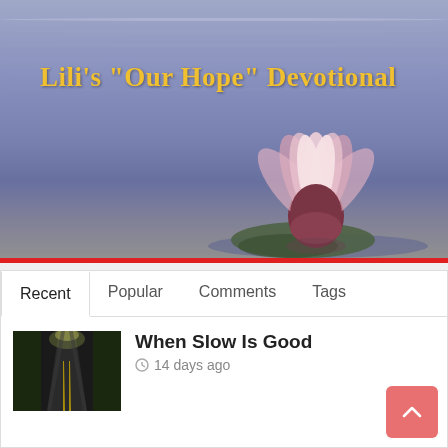[Figure (photo): Banner image with purple-blue water/ripple background and a pink lotus flower on a lily pad, with yellow text overlay reading Lili's Our Hope Devotional]
Recent   Popular   Comments   Tags
When Slow Is Good
14 days ago
[Figure (photo): Thumbnail of a dark winding road at night with trees on both sides]